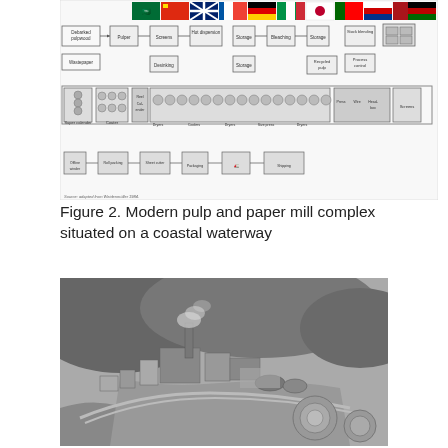[Figure (flowchart): Flowchart of a modern pulp and paper mill complex showing process steps including debarked pulpwood, wastepaper, pulper, screens, hot dispersion, storage, bleaching, storage, recycled pulp, stock blending, process control, super calender, coater, reel, calender, dryers, coolers, dryers, size press, dryers, press, wire, headbox, screens, offline winder, roll packing, sheet cutter, packaging, shipping. Source: adapted from Weidenmüller 1984.]
Figure 2. Modern pulp and paper mill complex situated on a coastal waterway
[Figure (photo): Black and white aerial photograph of a modern pulp and paper mill complex situated on a coastal waterway, showing industrial buildings, smokestacks, storage tanks, roads, and circular settling/treatment ponds, surrounded by forested hills.]